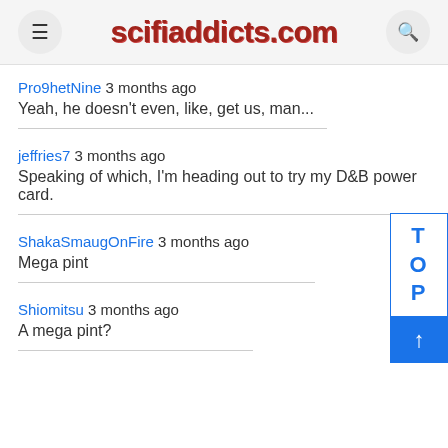scifiaddicts.com
Pro9hetNine 3 months ago
Yeah, he doesn't even, like, get us, man...
jeffries7 3 months ago
Speaking of which, I'm heading out to try my D&B power card.
ShakaSmaugOnFire 3 months ago
Mega pint
Shiomitsu 3 months ago
A mega pint?